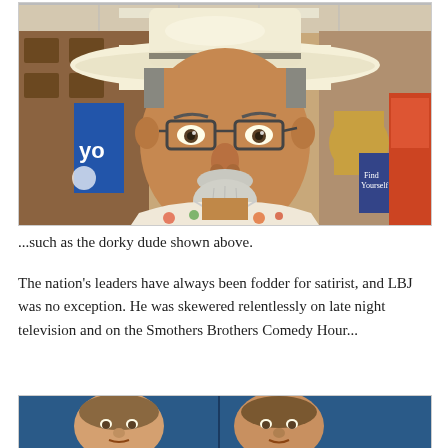[Figure (photo): A middle-aged man with glasses, a white/cream wide-brimmed hat, a goatee/beard, and a floral Hawaiian shirt, taking a selfie in what appears to be an airport or retail store. Background shows store fixtures, another customer, and a 'Find Yourself' sign.]
...such as the dorky dude shown above.
The nation’s leaders have always been fodder for satirist, and LBJ was no exception. He was skewered relentlessly on late night television and on the Smothers Brothers Comedy Hour...
[Figure (photo): Partial photo at bottom showing faces of people, appears to be a television screenshot with a blue/dark background.]